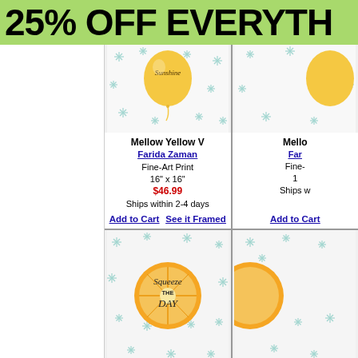25% OFF EVERYTH...
[Figure (illustration): Product image: Mellow Yellow V - Sunshine balloon art print with teal snowflake pattern on white background, by Farida Zaman]
Mellow Yellow V
Farida Zaman
Fine-Art Print
16" x 16"
$46.99
Ships within 2-4 days
Add to Cart   See it Framed
[Figure (illustration): Partially visible product image on the right side - similar teal snowflake pattern]
Mello
Far
Fin
1
Ships w
[Figure (illustration): Product image: Mellow Yellow II - Squeeze the Day orange slice art print with teal snowflake pattern on white background, by Farida Zaman]
Mellow Yellow II
Farida Zaman
Fine-Art Print
[Figure (illustration): Partially visible product image bottom right]
Mello
Far